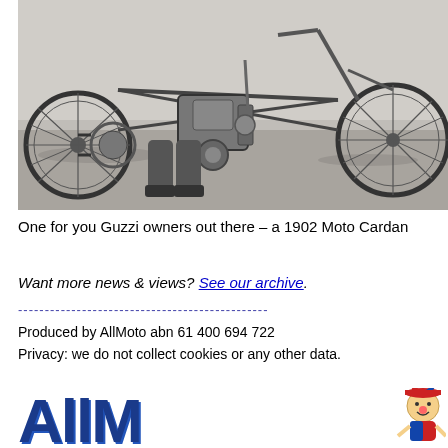[Figure (photo): Black and white photograph of a 1902 Moto Cardan motorcycle, showing wheels, engine, chain drive mechanism, with a person's legs/boots visible]
One for you Guzzi owners out there – a 1902 Moto Cardan
Want more news & views? See our archive.
Produced by AllMoto abn 61 400 694 722
Privacy: we do not collect cookies or any other data.
[Figure (logo): AllMoto logo with large blue stylized letters 'AllM' and a mascot character (clown/jester figure) on the right]